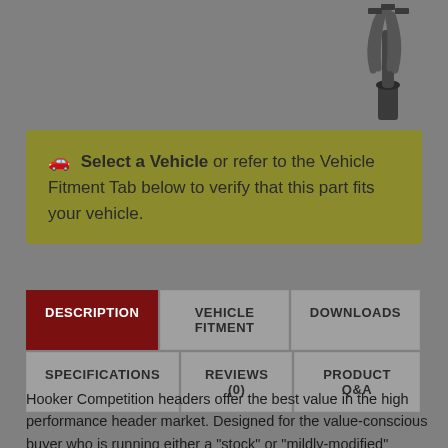[Figure (illustration): Partial view of a Hooker Competition exhaust header pipe product shown in dark metallic finish, upper right corner of page]
🚗 Select a Vehicle or refer to the Vehicle Fitment Tab below to verify that this part fits your vehicle.
DESCRIPTION
VEHICLE FITMENT
DOWNLOADS
SPECIFICATIONS
REVIEWS (0)
PRODUCT Q&A
Hooker Competition headers offer the best value in the high performance header market. Designed for the value-conscious buyer who is running either a "stock" or "mildly-modified" engine, Hooker Competition headers offer premium features at a very competitive price. Made of durable 16-gauge aluminized steel...